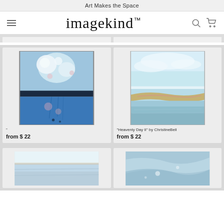Art Makes the Space
imagekind
[Figure (illustration): Abstract blue painting with white floral elements and dark horizontal band]
“
from $ 22
[Figure (illustration): Landscape painting with blue sky, water, and golden wave band - Heavenly Day II by ChristineBell]
“Heavenly Day II” by ChristineBell
from $ 22
[Figure (illustration): Abstract landscape with soft blue and beige horizontal bands]
[Figure (illustration): Abstract blue and white marble or ocean texture]